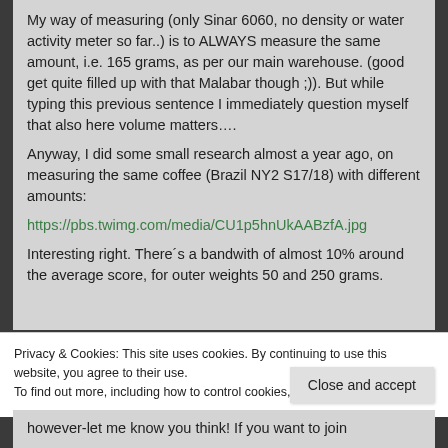My way of measuring (only Sinar 6060, no density or water activity meter so far..) is to ALWAYS measure the same amount, i.e. 165 grams, as per our main warehouse. (good get quite filled up with that Malabar though ;)). But while typing this previous sentence I immediately question myself that also here volume matters….
Anyway, I did some small research almost a year ago, on measuring the same coffee (Brazil NY2 S17/18) with different amounts:
https://pbs.twimg.com/media/CU1p5hnUkAABzfA.jpg
Interesting right. There´s a bandwith of almost 10% around the average score, for outer weights 50 and 250 grams.
Privacy & Cookies: This site uses cookies. By continuing to use this website, you agree to their use.
To find out more, including how to control cookies, see here: Cookie Policy
Close and accept
however-let me know you think! If you want to join